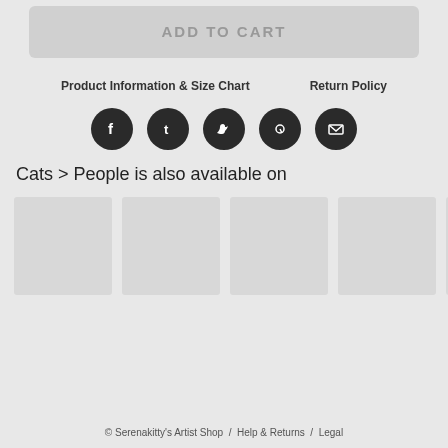ADD TO CART
Product Information & Size Chart
Return Policy
[Figure (other): Social media share icons: Facebook, Tumblr, Twitter, Pinterest, Email — dark circular buttons]
Cats > People is also available on
[Figure (other): Six product thumbnail placeholder boxes in a row]
© Serenakitty's Artist Shop  /  Help & Returns  /  Legal